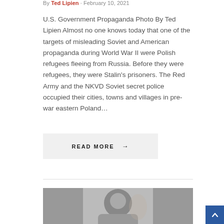By Ted Lipien · February 10, 2021
U.S. Government Propaganda Photo By Ted Lipien Almost no one knows today that one of the targets of misleading Soviet and American propaganda during World War II were Polish refugees fleeing from Russia. Before they were refugees, they were Stalin's prisoners. The Red Army and the NKVD Soviet secret police occupied their cities, towns and villages in pre-war eastern Poland...
READ MORE →
[Figure (photo): Black and white photograph of a person, partially visible, appearing to smile]